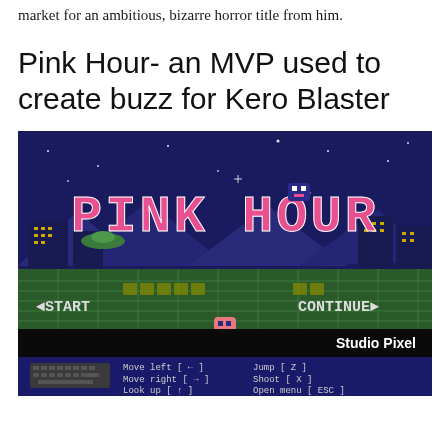market for an ambitious, bizarre horror title from him.
Pink Hour- an MVP used to create buzz for Kero Blaster
[Figure (screenshot): Screenshot of the Pink Hour game by Studio Pixel showing the title screen with 'PINK HOUR' in large pixel art letters, a night city background, a pink character, START and CONTINUE menu options, and keyboard controls showing Move left, Move right, Look up, Jump, Shoot, Open menu commands.]